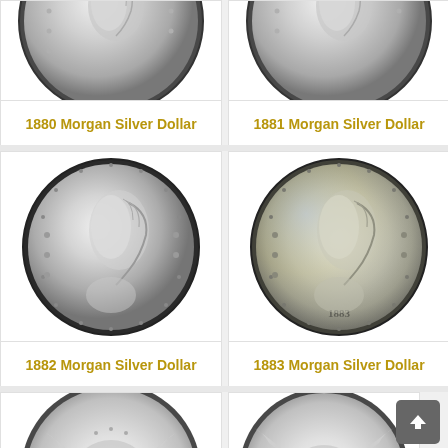[Figure (photo): 1880 Morgan Silver Dollar coin obverse showing Lady Liberty profile]
1880 Morgan Silver Dollar
[Figure (photo): 1881 Morgan Silver Dollar coin obverse showing Lady Liberty profile]
1881 Morgan Silver Dollar
[Figure (photo): 1882 Morgan Silver Dollar coin obverse showing Lady Liberty profile]
1882 Morgan Silver Dollar
[Figure (photo): 1883 Morgan Silver Dollar coin obverse showing Lady Liberty profile with toning]
1883 Morgan Silver Dollar
[Figure (photo): 1884 Morgan Silver Dollar coin reverse partially visible]
[Figure (photo): 1885 Morgan Silver Dollar coin reverse partially visible]